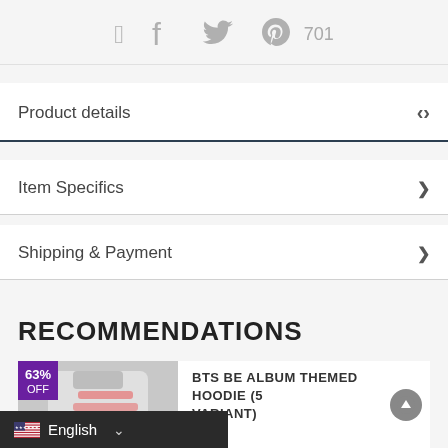[Figure (screenshot): Social share bar with Facebook, Twitter, Pinterest icons and count 701]
Product details
Item Specifics
Shipping & Payment
RECOMMENDATIONS
[Figure (photo): Product image of a hoodie with 63% OFF badge]
BTS BE ALBUM THEMED HOODIE (5 VARIANT)
[Figure (screenshot): English language selector bar at bottom]
[Figure (screenshot): Scroll to top arrow button]